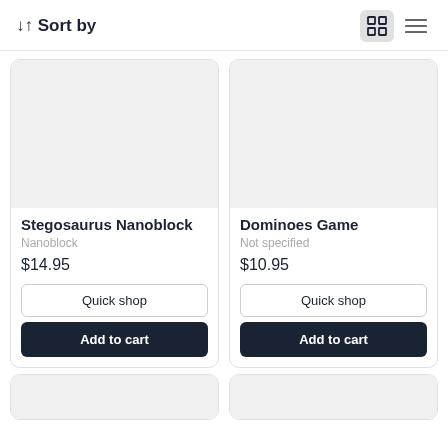↓↑ Sort by
[Figure (screenshot): Product card: Stegosaurus Nanoblock with gray placeholder image]
[Figure (screenshot): Product card: Dominoes Game with gray placeholder image]
Stegosaurus Nanoblock
Nanoblock
$14.95
Dominoes Game
Not specified
$10.95